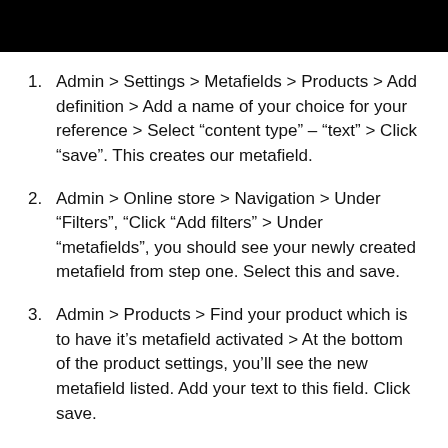[Figure (other): Black rectangular banner/header bar at top of page]
Admin > Settings > Metafields > Products > Add definition > Add a name of your choice for your reference > Select “content type” – “text” > Click “save”. This creates our metafield.
Admin > Online store > Navigation > Under “Filters”, “Click “Add filters” > Under “metafields”, you should see your newly created metafield from step one. Select this and save.
Admin > Products > Find your product which is to have it’s metafield activated > At the bottom of the product settings, you’ll see the new metafield listed. Add your text to this field. Click save.